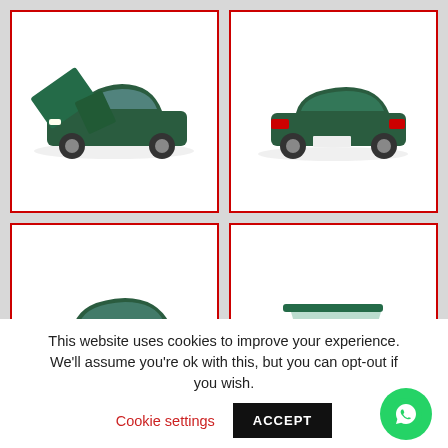[Figure (photo): Dark green sedan car model with hood and doors open, front three-quarter view]
[Figure (photo): Dark green sedan car model, rear three-quarter view]
[Figure (photo): Dark green sedan car model, front three-quarter view from lower angle]
[Figure (photo): Dark green sedan car model, rear straight-on view showing license plate and tail lights]
[Figure (photo): Dark green sedan car model with trunk open, rear view]
[Figure (photo): Dark green sedan car model, side view partially visible]
This website uses cookies to improve your experience. We'll assume you're ok with this, but you can opt-out if you wish.
Cookie settings
ACCEPT